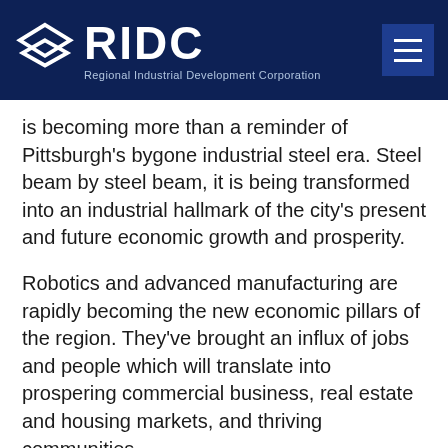RIDC – Regional Industrial Development Corporation
is becoming more than a reminder of Pittsburgh's bygone industrial steel era. Steel beam by steel beam, it is being transformed into an industrial hallmark of the city's present and future economic growth and prosperity.
Robotics and advanced manufacturing are rapidly becoming the new economic pillars of the region. They've brought an influx of jobs and people which will translate into prospering commercial business, real estate and housing markets, and thriving communities.
By providing homes for these companies, Mill 19 will become a testbed for new technologies and a center for new jobs, economic growth and community involvement in Hazelwood.